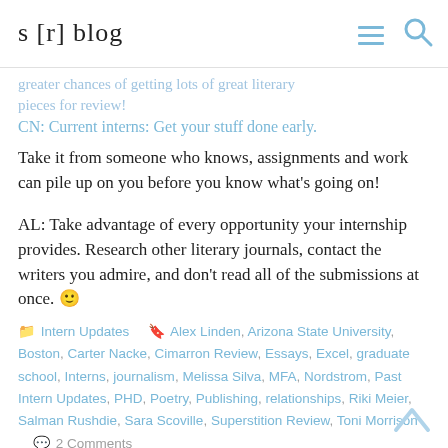s [r] blog
greater chances of getting lots of great literary pieces for review!
CN: Current interns: Get your stuff done early. Take it from someone who knows, assignments and work can pile up on you before you know what's going on!
AL: Take advantage of every opportunity your internship provides. Research other literary journals, contact the writers you admire, and don't read all of the submissions at once. 🙂
Intern Updates   Alex Linden, Arizona State University, Boston, Carter Nacke, Cimarron Review, Essays, Excel, graduate school, Interns, journalism, Melissa Silva, MFA, Nordstrom, Past Intern Updates, PHD, Poetry, Publishing, relationships, Riki Meier, Salman Rushdie, Sara Scoville, Superstition Review, Toni Morrison   2 Comments